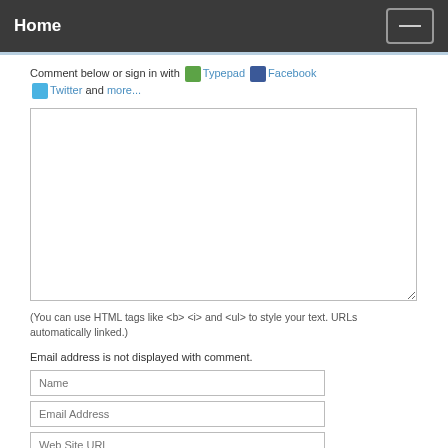Home
Comment below or sign in with Typepad Facebook Twitter and more...
[Figure (screenshot): Large empty textarea for entering a comment]
(You can use HTML tags like <b> <i> and <ul> to style your text. URLs automatically linked.)
Email address is not displayed with comment.
Name input field
Email Address input field
Web Site URL input field
Post  Preview buttons